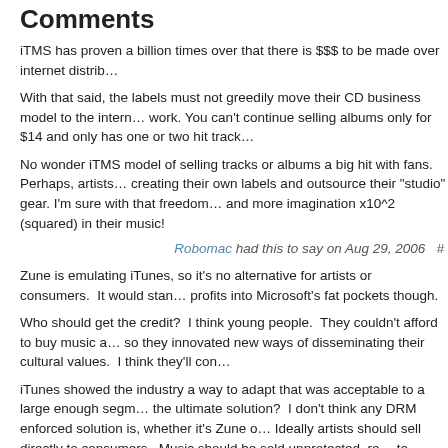Comments
iTMS has proven a billion times over that there is $$$ to be made over internet distrib...
With that said, the labels must not greedily move their CD business model to the intern... work. You can’t continue selling albums only for $14 and only has one or two hit trac...
No wonder iTMS model of selling tracks or albums a big hit with fans. Perhaps, artists... creating their own labels and outsource their “studio” gear. I’m sure with that freedom... and more imagination x10^2 (squared) in their music!
Robomac had this to say on Aug 29, 2006
Zune is emulating iTunes, so it’s no alternative for artists or consumers. It would stan... profits into Microsoft’s fat pockets though.
Who should get the credit? I think young people. They couldn’t afford to buy music a... so they innovated new ways of disseminating their cultural values. I think they’ll con...
iTunes showed the industry a way to adapt that was acceptable to a large enough segm... the ultimate solution? I don’t think any DRM enforced solution is, whether it’s Zune o... Ideally artists should sell directly to consumers. Music should be sold unprotected, re... to customers. In such a scenario, artists would defray the loss of money due to piracy... tickets and merchandize.